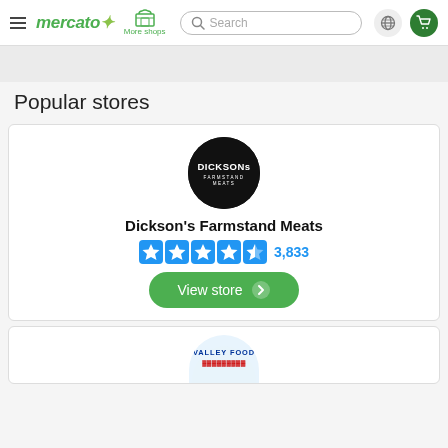mercato — More shops — Search bar — globe icon — cart icon
Popular stores
[Figure (logo): Dickson's Farmstand Meats circular black logo with white text]
Dickson's Farmstand Meats
3,833 star rating
View store
[Figure (logo): Valley Food partial logo, partially visible at bottom of page]